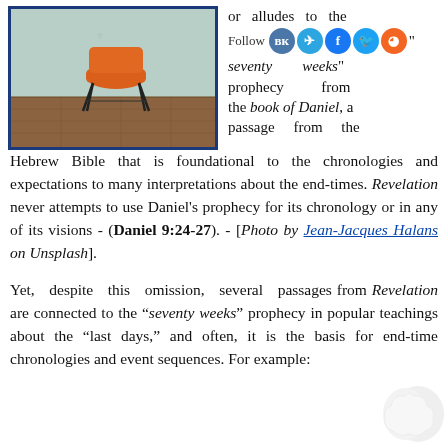[Figure (photo): Photo of an orange chair on a wooden floor against a light blue-green wall, framed with a dark blue border.]
or alludes to the "seventy weeks" prophecy from the book of Daniel, a passage from the Hebrew Bible that is foundational to the chronologies and expectations to many interpretations about the end-times. Revelation never attempts to use Daniel's prophecy for its chronology or in any of its visions - (Daniel 9:24-27). - [Photo by Jean-Jacques Halans on Unsplash].
Yet, despite this omission, several passages from Revelation are connected to the “seventy weeks” prophecy in popular teachings about the “last days,” and often, it is the basis for end-time chronologies and event sequences. For example: